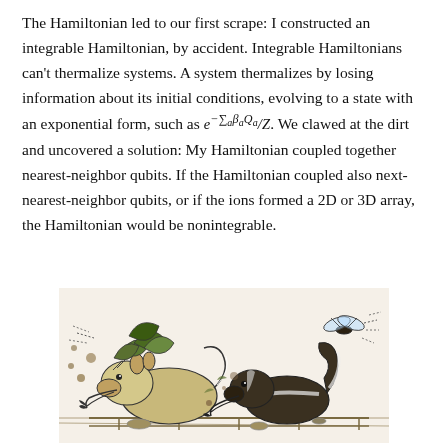The Hamiltonian led to our first scrape: I constructed an integrable Hamiltonian, by accident. Integrable Hamiltonians can't thermalize systems. A system thermalizes by losing information about its initial conditions, evolving to a state with an exponential form, such as e^{-\sum_a \beta_a Q_a}/Z. We clawed at the dirt and uncovered a solution: My Hamiltonian coupled together nearest-neighbor qubits. If the Hamiltonian coupled also next-nearest-neighbor qubits, or if the ions formed a 2D or 3D array, the Hamiltonian would be nonintegrable.
[Figure (illustration): A vintage black-and-white cartoon/illustration showing two creatures or characters clawing at dirt or engaged in a scrape, with motion lines and scattered debris, one figure appears to have a propeller or wings.]